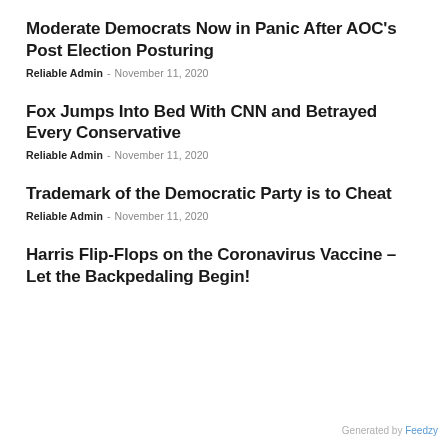Moderate Democrats Now in Panic After AOC's Post Election Posturing
Reliable Admin · November 11, 2020
Fox Jumps Into Bed With CNN and Betrayed Every Conservative
Reliable Admin · November 11, 2020
Trademark of the Democratic Party is to Cheat
Reliable Admin · November 11, 2020
Harris Flip-Flops on the Coronavirus Vaccine – Let the Backpedaling Begin!
Generated by Feedzy